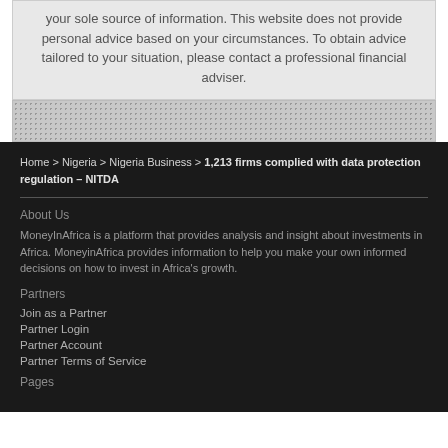your sole source of information. This website does not provide personal advice based on your circumstances. To obtain advice tailored to your situation, please contact a professional financial adviser.
Home > Nigeria > Nigeria Business > 1,213 firms complied with data protection regulation – NITDA
About Us
MoneyInAfrica is a platform that provides analysis and insight about investments in Africa. MoneyinAfrica provides information to help you make your own informed decisions on how to invest in Africa's growth.
Partners
Join as a Partner
Partner Login
Partner Account
Partner Terms of Service
Pages